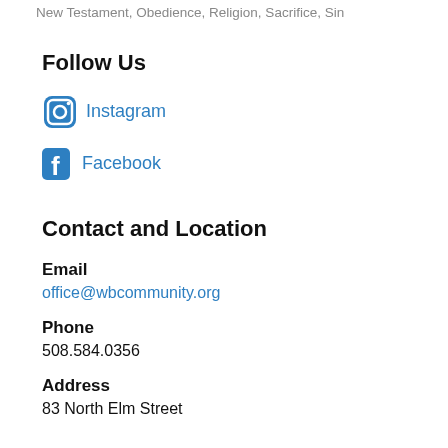New Testament, Obedience, Religion, Sacrifice, Sin
Follow Us
Instagram
Facebook
Contact and Location
Email
office@wbcommunity.org
Phone
508.584.0356
Address
83 North Elm Street